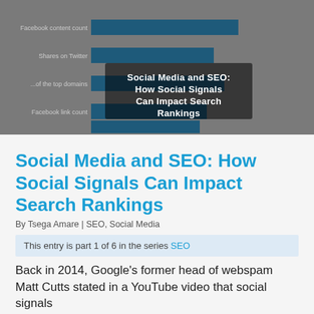[Figure (infographic): Hero banner image showing a horizontal bar chart on a dark gray/blue background with overlaid white bold text reading 'Social Media and SEO: How Social Signals Can Impact Search Rankings']
Social Media and SEO: How Social Signals Can Impact Search Rankings
By Tsega Amare | SEO, Social Media
This entry is part 1 of 6 in the series SEO
Back in 2014, Google's former head of webspam Matt Cutts stated in a YouTube video that social signals